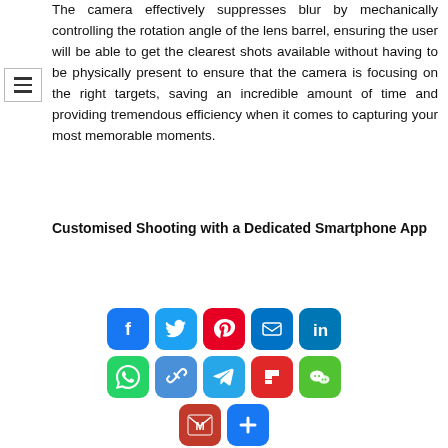The camera effectively suppresses blur by mechanically controlling the rotation angle of the lens barrel, ensuring the user will be able to get the clearest shots available without having to be physically present to ensure that the camera is focusing on the right targets, saving an incredible amount of time and providing tremendous efficiency when it comes to capturing your most memorable moments.
Customised Shooting with a Dedicated Smartphone App
[Figure (infographic): Social media sharing icon buttons in two rows: Facebook (blue), Twitter (blue), Pinterest (red), Email (blue), LinkedIn (blue); WhatsApp (green), Copy Link (blue), Telegram (teal), Flipboard (red), WeChat (green); Gmail (red), More/Add (blue)]